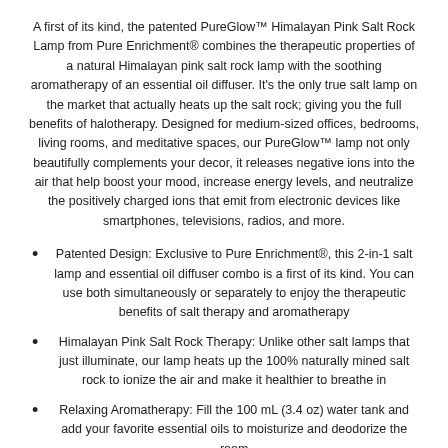A first of its kind, the patented PureGlow™ Himalayan Pink Salt Rock Lamp from Pure Enrichment® combines the therapeutic properties of a natural Himalayan pink salt rock lamp with the soothing aromatherapy of an essential oil diffuser. It's the only true salt lamp on the market that actually heats up the salt rock; giving you the full benefits of halotherapy. Designed for medium-sized offices, bedrooms, living rooms, and meditative spaces, our PureGlow™ lamp not only beautifully complements your decor, it releases negative ions into the air that help boost your mood, increase energy levels, and neutralize the positively charged ions that emit from electronic devices like smartphones, televisions, radios, and more.
Patented Design: Exclusive to Pure Enrichment®, this 2-in-1 salt lamp and essential oil diffuser combo is a first of its kind. You can use both simultaneously or separately to enjoy the therapeutic benefits of salt therapy and aromatherapy
Himalayan Pink Salt Rock Therapy: Unlike other salt lamps that just illuminate, our lamp heats up the 100% naturally mined salt rock to ionize the air and make it healthier to breathe in
Relaxing Aromatherapy: Fill the 100 mL (3.4 oz) water tank and add your favorite essential oils to moisturize and deodorize the room